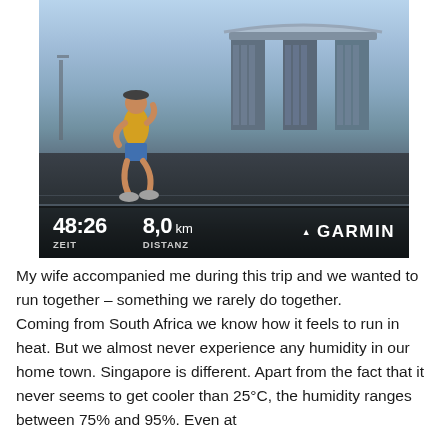[Figure (photo): A runner in a yellow singlet and blue shorts running outdoors with the Marina Bay Sands hotel in the background in Singapore. A Garmin overlay shows workout stats: 48:26 ZEIT (time) and 8.0 km DISTANZ (distance).]
My wife accompanied me during this trip and we wanted to run together – something we rarely do together.
Coming from South Africa we know how it feels to run in heat. But we almost never experience any humidity in our home town. Singapore is different. Apart from the fact that it never seems to get cooler than 25°C, the humidity ranges between 75% and 95%. Even at